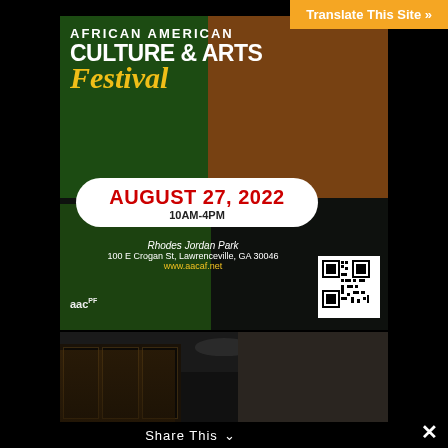Translate This Site »
[Figure (illustration): African American Culture & Arts Festival promotional poster. Dark background with green left side and orange right side. Text: AFRICAN AMERICAN CULTURE & ARTS Festival. Date pill: AUGUST 27, 2022, 10AM-4PM. Location: Rhodes Jordan Park, 100 E Crogan St, Lawrenceville, GA 30046, www.aacaf.net. QR code bottom right. AACF logo bottom left.]
[Figure (photo): Interior photo of a dark room or venue with ceiling fan, ambient lighting, glass doors, and dark walls.]
Share This ∨
×